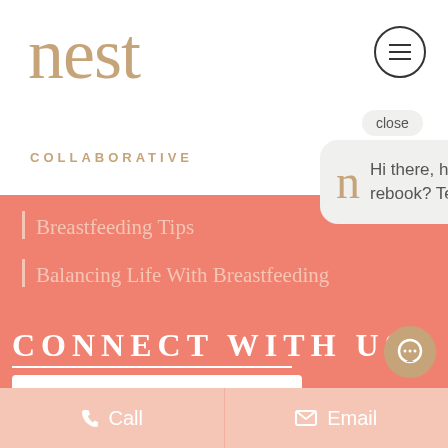[Figure (logo): Nest Collaborative logo - 'nest' in large serif tan/gold text, 'COLLABORATIVE' in small caps below]
Breastfeeding Tips
Balancing Life With Breastfeeding
CONNECT WITH US
Name*
Email*
close
Hi there, have a question or need to rebook? Text us here. Se habla Espanol.
Call
Email